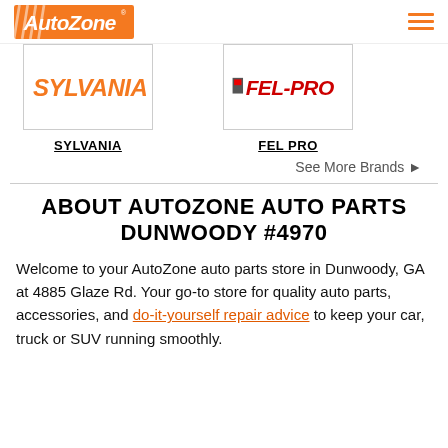AutoZone
[Figure (logo): SYLVANIA brand logo in orange italic text]
[Figure (logo): FEL-PRO brand logo in dark red/gray text]
SYLVANIA
FEL PRO
See More Brands ▶
ABOUT AUTOZONE AUTO PARTS DUNWOODY #4970
Welcome to your AutoZone auto parts store in Dunwoody, GA at 4885 Glaze Rd. Your go-to store for quality auto parts, accessories, and do-it-yourself repair advice to keep your car, truck or SUV running smoothly.